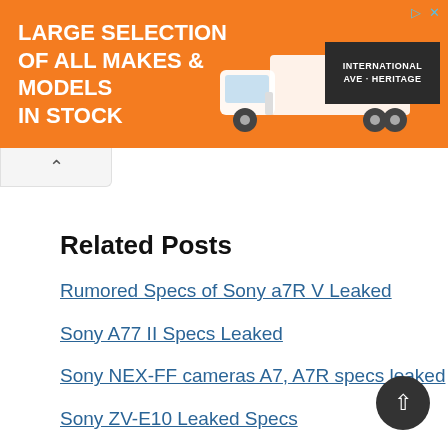[Figure (photo): Orange advertisement banner for truck dealer featuring white text 'LARGE SELECTION OF ALL MAKES & MODELS IN STOCK', a white semi-truck image, and International Avenue Heritage logo on dark background]
Related Posts
Rumored Specs of Sony a7R V Leaked
Sony A77 II Specs Leaked
Sony NEX-FF cameras A7, A7R specs leaked
Sony ZV-E10 Leaked Specs
Sony RX100 Image Specs Leaked